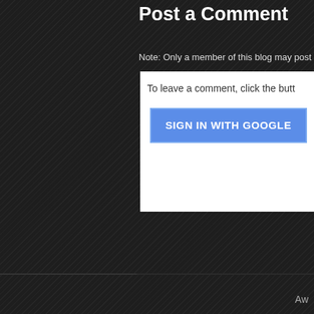Post a Comment
Note: Only a member of this blog may post
To leave a comment, click the butt
SIGN IN WITH GOOGLE
Newer Post
Subscrib
Aw